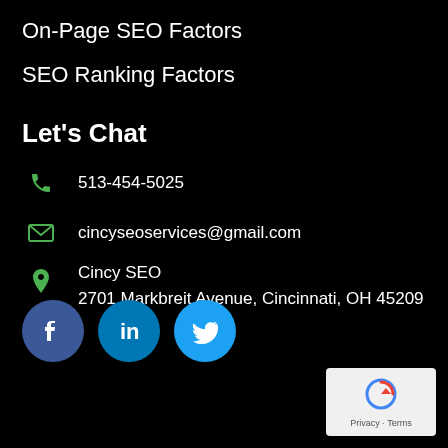On-Page SEO Factors
SEO Ranking Factors
Let's Chat
513-454-5025
cincyseoservices@gmail.com
Cincy SEO
2701 Markbreit Avenue, Cincinnati, OH 45209
[Figure (logo): Facebook, LinkedIn, Twitter social media icon buttons]
[Figure (logo): Google reCAPTCHA badge with Privacy and Terms text]